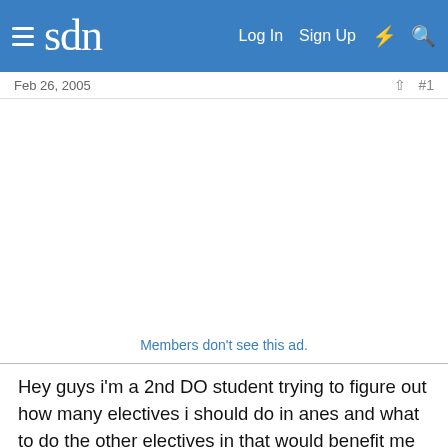sdn — Log In  Sign Up
Feb 26, 2005
[Figure (other): Advertisement placeholder area (blank white space)]
Members don't see this ad.
Hey guys i'm a 2nd DO student trying to figure out how many electives i should do in anes and what to do the other electives in that would benefit me or prepare me for my anes rotation. I